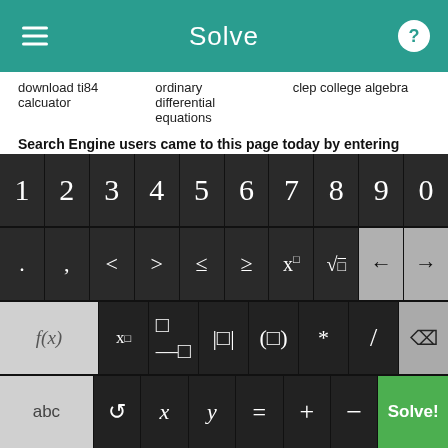Solve
download ti84 calcuator
ordinary differential equations
clep college algebra
Search Engine users came to this page today by entering these math terms :
graphing pictures for 6th grade
begener algebra.com
free area of a circle worksheet
[Figure (screenshot): Mobile math keyboard with digits 1-0 on top row, symbols (. , < > ≤ ≥ x□ √□ ← →) on second row, function keys (f(x) x□ fraction |□| (□) * / delete) on third row, and (abc ↺ x y = + − Solve!) on bottom row with green Solve button.]